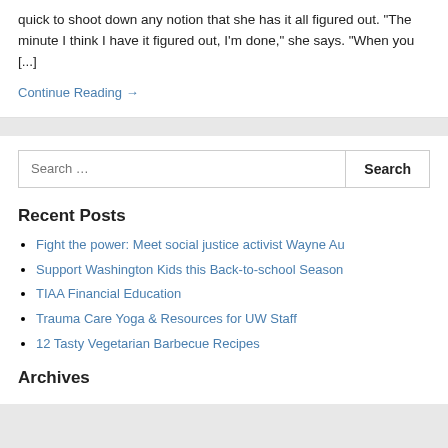quick to shoot down any notion that she has it all figured out. “The minute I think I have it figured out, I’m done,” she says. “When you [...]
Continue Reading →
Search ...
Recent Posts
Fight the power: Meet social justice activist Wayne Au
Support Washington Kids this Back-to-school Season
TIAA Financial Education
Trauma Care Yoga & Resources for UW Staff
12 Tasty Vegetarian Barbecue Recipes
Archives